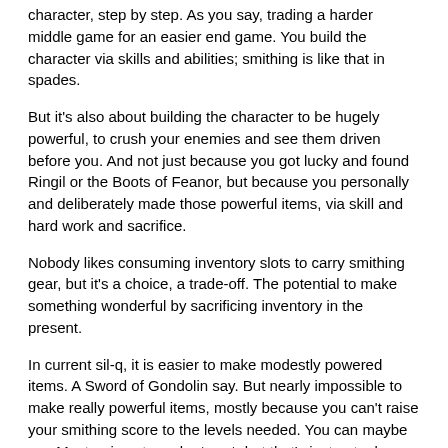character, step by step. As you say, trading a harder middle game for an easier end game. You build the character via skills and abilities; smithing is like that in spades.
But it's also about building the character to be hugely powerful, to crush your enemies and see them driven before you. And not just because you got lucky and found Ringil or the Boots of Feanor, but because you personally and deliberately made those powerful items, via skill and hard work and sacrifice.
Nobody likes consuming inventory slots to carry smithing gear, but it's a choice, a trade-off. The potential to make something wonderful by sacrificing inventory in the present.
In current sil-q, it is easier to make modestly powered items. A Sword of Gondolin say. But nearly impossible to make really powerful items, mostly because you can't raise your smithing score to the levels needed. You can maybe use Masterpiece to make *one*, but that's just not a large enough payoff.
There don't seem to be any items that raise your Smithing score directly anymore, so you have to use +Grace items to supplement the points put into Smithing. At best, that's a Robe+2, Helm+1, Amulet+1, Lamp+1, and a Weapon+1. That's a reasonable set, but smithing costs are higher than they were, so it's not really enough. Plus several of these items require relatively high smithing scores to make them in the first place, which means you have to put a lot of points into Smithing in order to make them, and you can't really afford that until later in the game, which in turn means you have less opportunity to make that investment pay off.